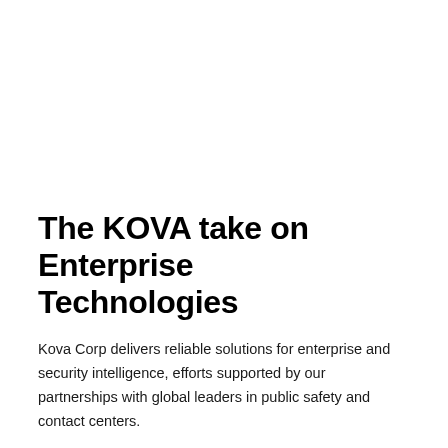The KOVA take on Enterprise Technologies
Kova Corp delivers reliable solutions for enterprise and security intelligence, efforts supported by our partnerships with global leaders in public safety and contact centers.